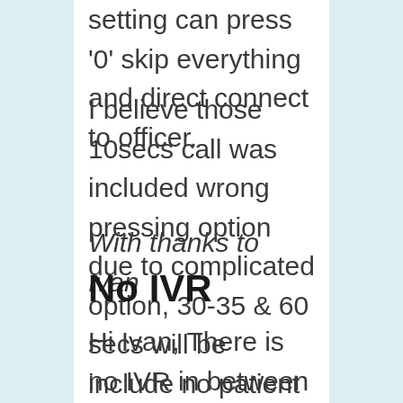setting can press '0' skip everything and direct connect to officer.
I believe those 10secs call was included wrong pressing option due to complicated option, 30-35 & 60 secs will be include no patient to keep listening your VM option.
With thanks to Ivan
No IVR
Hi Ivan, There is no IVR in between the caller and the executive. The caller gets directly connected to our representative based on availability.